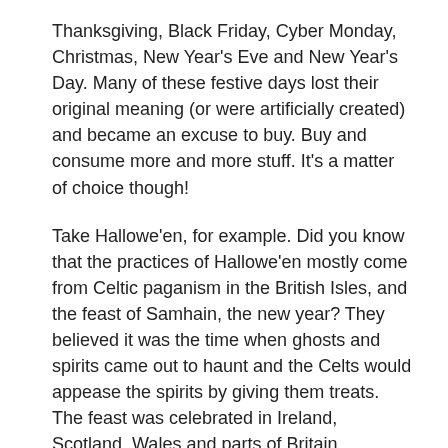Thanksgiving, Black Friday, Cyber Monday, Christmas, New Year's Eve and New Year's Day. Many of these festive days lost their original meaning (or were artificially created) and became an excuse to buy. Buy and consume more and more stuff. It's a matter of choice though!
Take Hallowe'en, for example. Did you know that the practices of Hallowe'en mostly come from Celtic paganism in the British Isles, and the feast of Samhain, the new year? They believed it was the time when ghosts and spirits came out to haunt and the Celts would appease the spirits by giving them treats. The feast was celebrated in Ireland, Scotland, Wales and parts of Britain.
In Slovakia, until some years ago when the American version of this holiday wrestled its way in, this time of year was solely dedicated to remembering those who left us with November 1st, being All Saints Day and with